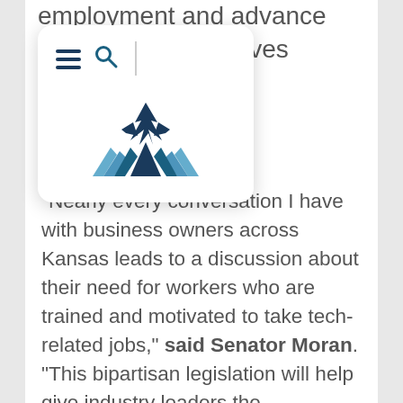employment and advance cal initiatives across ."
[Figure (screenshot): Navigation overlay with hamburger menu icon, search icon, vertical divider line, and a logo featuring an eagle/mountain design in blue with diagonal stripes]
“Nearly every conversation I have with business owners across Kansas leads to a discussion about their need for workers who are trained and motivated to take tech-related jobs,” said Senator Moran. “This bipartisan legislation will help give industry leaders the